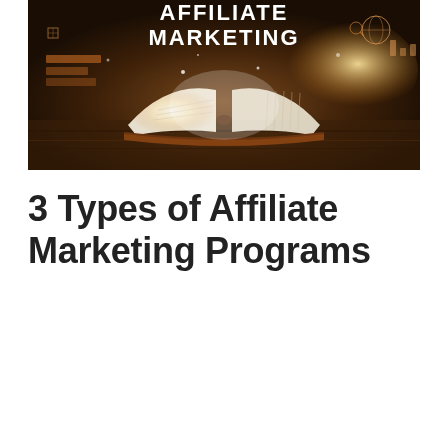[Figure (photo): A promotional image with a dark brown/amber background showing an open glowing book on a wooden table, with digital marketing icons and graphics overlaid. Bold white text reads 'AFFILIATE MARKETING' across the top center of the image.]
3 Types of Affiliate Marketing Programs